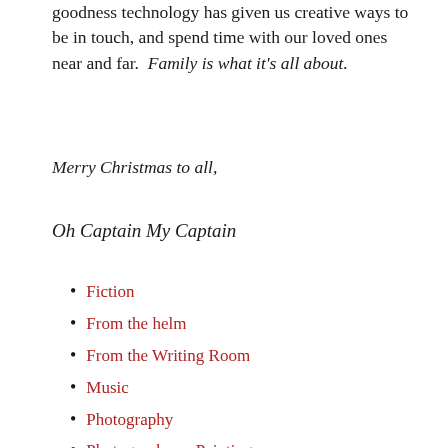goodness technology has given us creative ways to be in touch, and spend time with our loved ones near and far. Family is what it's all about.
Merry Christmas to all,
Oh Captain My Captain
Fiction
From the helm
From the Writing Room
Music
Photography
Photography or Painting
Rhyme
The Helm
The Writing Room